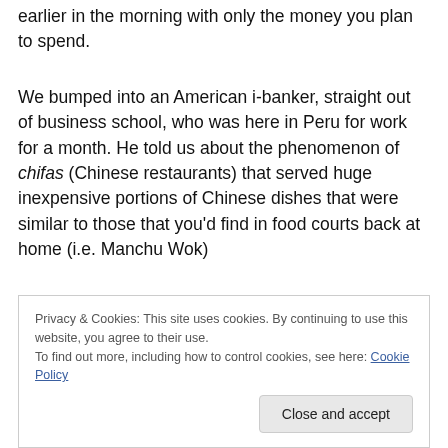earlier in the morning with only the money you plan to spend.
We bumped into an American i-banker, straight out of business school, who was here in Peru for work for a month. He told us about the phenomenon of chifas (Chinese restaurants) that served huge inexpensive portions of Chinese dishes that were similar to those that you'd find in food courts back at home (i.e. Manchu Wok)...
Privacy & Cookies: This site uses cookies. By continuing to use this website, you agree to their use.
To find out more, including how to control cookies, see here: Cookie Policy
Close and accept